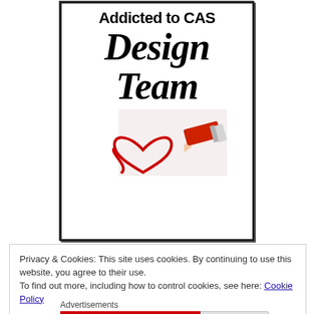[Figure (logo): Addicted to CAS Design Team badge with bold text and an illustration of a red pencil drawing a heart shape]
Privacy & Cookies: This site uses cookies. By continuing to use this website, you agree to their use.
To find out more, including how to control cookies, see here: Cookie Policy
Close and accept
Advertisements